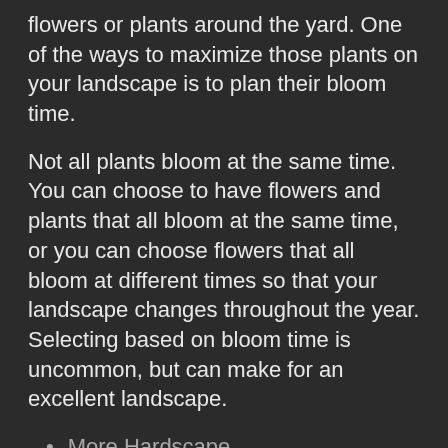flowers or plants around the yard. One of the ways to maximize those plants on your landscape is to plan their bloom time.
Not all plants bloom at the same time. You can choose to have flowers and plants that all bloom at the same time, or you can choose flowers that all bloom at different times so that your landscape changes throughout the year. Selecting based on bloom time is uncommon, but can make for an excellent landscape.
More Hardscape
Whenever anyone thinks of landscapes, they think of green grass and plants. But that's not necessarily what you need, especially in a drought and even more so if you are not in love with mowing. Hardscape often makes for a better priority. With more concrete, paver